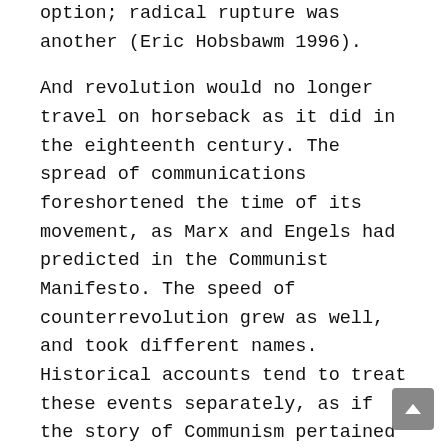option; radical rupture was another (Eric Hobsbawm 1996).
And revolution would no longer travel on horseback as it did in the eighteenth century. The spread of communications foreshortened the time of its movement, as Marx and Engels had predicted in the Communist Manifesto. The speed of counterrevolution grew as well, and took different names. Historical accounts tend to treat these events separately, as if the story of Communism pertained to Communists alone, and as if the story of twentieth century democracy and nation-building were not in part responses to the challenges posed by Communism.